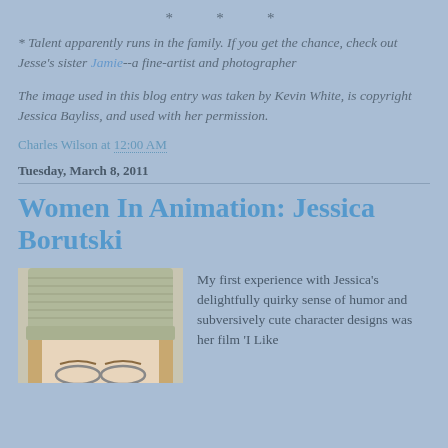* * *
* Talent apparently runs in the family. If you get the chance, check out Jesse's sister Jamie--a fine-artist and photographer
The image used in this blog entry was taken by Kevin White, is copyright Jessica Bayliss, and used with her permission.
Charles Wilson at 12:00 AM
Tuesday, March 8, 2011
Women In Animation: Jessica Borutski
[Figure (photo): Close-up photo of a person wearing a knitted grey/green beanie hat with glasses visible at bottom]
My first experience with Jessica's delightfully quirky sense of humor and subversively cute character designs was her film 'I Like